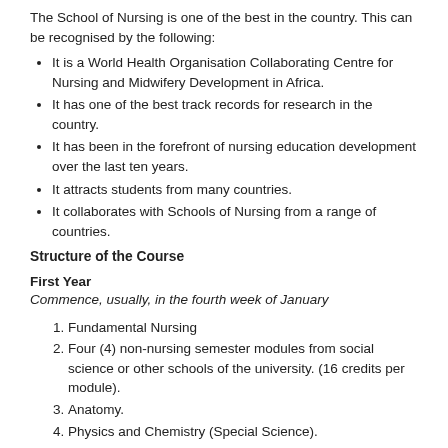The School of Nursing is one of the best in the country. This can be recognised by the following:
It is a World Health Organisation Collaborating Centre for Nursing and Midwifery Development in Africa.
It has one of the best track records for research in the country.
It has been in the forefront of nursing education development over the last ten years.
It attracts students from many countries.
It collaborates with Schools of Nursing from a range of countries.
Structure of the Course
First Year
Commence, usually, in the fourth week of January
Fundamental Nursing
Four (4) non-nursing semester modules from social science or other schools of the university. (16 credits per module).
Anatomy.
Physics and Chemistry (Special Science).
Clinical work during all university vacations.
Physiolog...